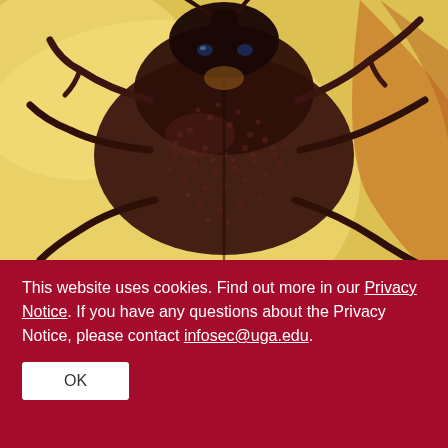[Figure (photo): Close-up macro photograph of a maize weevil (dark reddish-brown beetle) on a yellow/golden background. The beetle's textured carapace and legs are clearly visible.]
Maize Weevil
02/25/15 | Jordan Hill
A small weevil that lives inside corn kernels is costing Georgia growers millions of dollars each year. A University of
This website uses cookies. Find out more in our Privacy Notice. If you have any questions about the Privacy Notice, please contact infosec@uga.edu.
OK